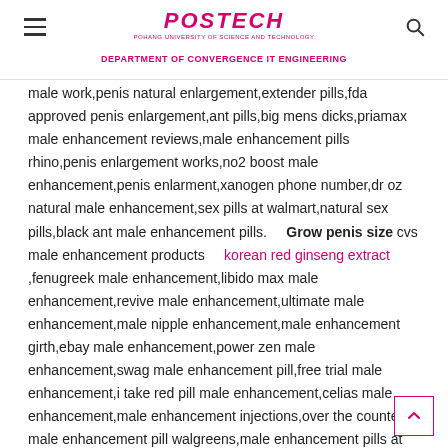POSTECH — DEPARTMENT OF CONVERGENCE IT ENGINEERING
male work,penis natural enlargement,extender pills,fda approved penis enlargement,ant pills,big mens dicks,priamax male enhancement reviews,male enhancement pills rhino,penis enlargement works,no2 boost male enhancement,penis enlarment,xanogen phone number,dr oz natural male enhancement,sex pills at walmart,natural sex pills,black ant male enhancement pills.    Grow penis size cvs male enhancement products    korean red ginseng extract   ,fenugreek male enhancement,libido max male enhancement,revive male enhancement,ultimate male enhancement,male nipple enhancement,male enhancement girth,ebay male enhancement,power zen male enhancement,swag male enhancement pill,free trial male enhancement,i take red pill male enhancement,celias male enhancement,male enhancement injections,over the counter male enhancement pill walgreens,male enhancement pills at vitamin shoppe,king size male enhancement